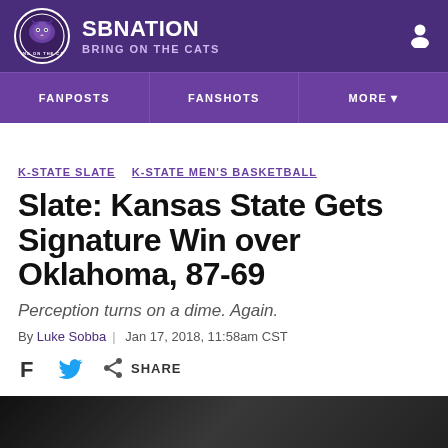SB NATION — BRING ON THE CATS
K-STATE SLATE  K-STATE MEN'S BASKETBALL
Slate: Kansas State Gets Signature Win over Oklahoma, 87-69
Perception turns on a dime. Again.
By Luke Sobba | Jan 17, 2018, 11:58am CST
[Figure (photo): Dark photo strip at the bottom of the page]